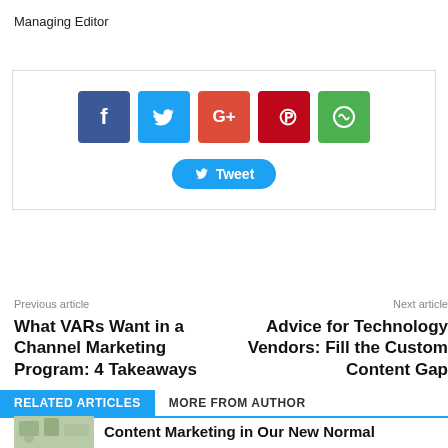Managing Editor
[Figure (infographic): Social sharing bar with Facebook, Twitter, Google+, Pinterest, WhatsApp icon buttons and a Tweet button]
Previous article
Next article
What VARs Want in a Channel Marketing Program: 4 Takeaways
Advice for Technology Vendors: Fill the Custom Content Gap
RELATED ARTICLES
MORE FROM AUTHOR
Content Marketing in Our New Normal